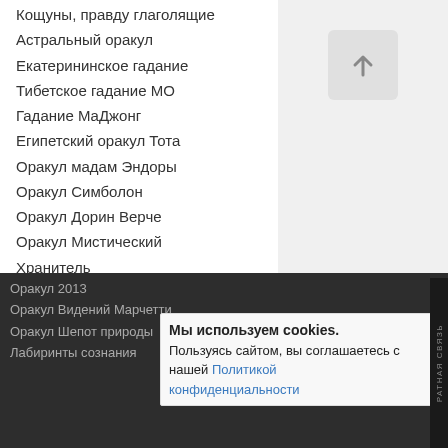Кощуны, правду глаголящие
Астральный оракул
Екатерининское гадание
Тибетское гадание МО
Гадание МаДжонг
Египетский оракул Тота
Оракул мадам Эндоры
Оракул Симболон
Оракул Дорин Верче
Оракул Мистический Хранитель
Цыганский оракул
Оракул Дыхание ночи
Гадание купца Платонова
Двойняшки — пермский оракул
Кельтский оракул Огам
Оракул Майя
Зеркальный оракул
Оракул 2013
Оракул Видений Марчетти
Оракул Шепот природы
Лабиринты сознания
Мы используем cookies. Пользуясь сайтом, вы соглашаетесь с нашей Политикой конфиденциальности